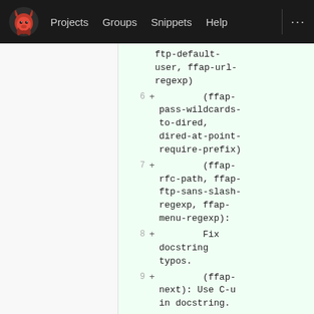Projects  Groups  Snippets  Help
ftp-default-user, ffap-url-regexp)
6 + (ffap-pass-wildcards-to-dired, dired-at-point-require-prefix)
7 + (ffap-rfc-path, ffap-ftp-sans-slash-regexp, ffap-menu-regexp):
8 + Fix docstring typos.
9 + (ffap-next): Use C-u in docstring.
10 + (ffap-
Code diff view from a GitLab-style interface showing added lines in a Lisp file